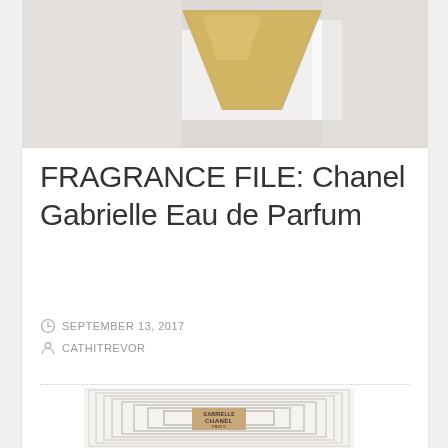[Figure (photo): Top image of a Chanel Gabrielle perfume bottle with golden liquid, shown from above on a white background]
FRAGRANCE FILE: Chanel Gabrielle Eau de Parfum
SEPTEMBER 13, 2017
CATHITREVOR
[Figure (photo): Chanel Gabrielle Eau de Parfum box packaging with concentric square design and gold label reading GABRIELLE CHANEL PARIS]